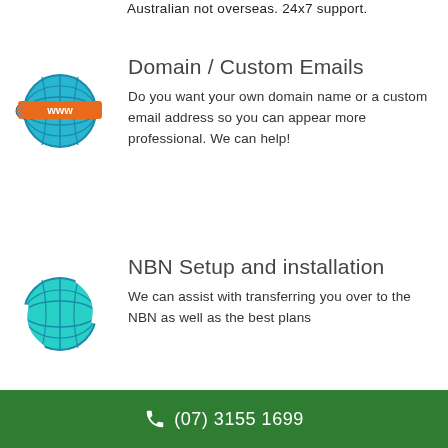Australian not overseas. 24x7 support.
[Figure (illustration): Globe icon with WWW banner and settings gear — domain/email icon]
Domain / Custom Emails
Do you want your own domain name or a custom email address so you can appear more professional. We can help!
[Figure (illustration): Globe with circular arrows — NBN setup icon]
NBN Setup and installation
We can assist with transferring you over to the NBN as well as the best plans
(07) 3155 1699